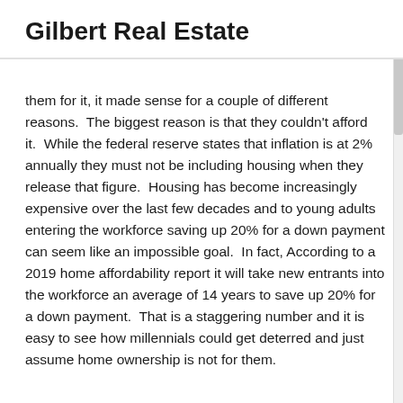Gilbert Real Estate
them for it, it made sense for a couple of different reasons.  The biggest reason is that they couldn't afford it.  While the federal reserve states that inflation is at 2% annually they must not be including housing when they release that figure.  Housing has become increasingly expensive over the last few decades and to young adults entering the workforce saving up 20% for a down payment can seem like an impossible goal.  In fact, According to a 2019 home affordability report it will take new entrants into the workforce an average of 14 years to save up 20% for a down payment.  That is a staggering number and it is easy to see how millennials could get deterred and just assume home ownership is not for them.